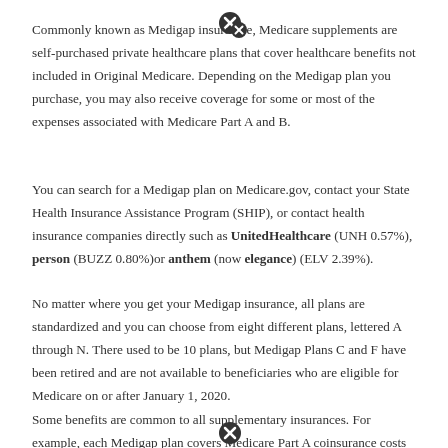Commonly known as Medigap insurance, Medicare supplements are self-purchased private healthcare plans that cover healthcare benefits not included in Original Medicare. Depending on the Medigap plan you purchase, you may also receive coverage for some or most of the expenses associated with Medicare Part A and B.
You can search for a Medigap plan on Medicare.gov, contact your State Health Insurance Assistance Program (SHIP), or contact health insurance companies directly such as UnitedHealthcare (UNH 0.57%), person (BUZZ 0.80%)or anthem (now elegance) (ELV 2.39%).
No matter where you get your Medigap insurance, all plans are standardized and you can choose from eight different plans, lettered A through N. There used to be 10 plans, but Medigap Plans C and F have been retired and are not available to beneficiaries who are eligible for Medicare on or after January 1, 2020.
Some benefits are common to all supplementary insurances. For example, each Medigap plan covers Medicare Part A coinsurance costs and extends...